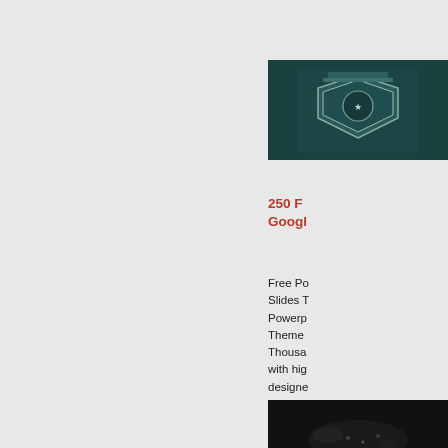[Figure (photo): Thumbnail image of a presentation slide with dark teal background showing a decorative architectural/badge element]
250 F... Googl...
Free Po... Slides T... Powerp... Theme... Thousa... with hig... designe... present... so man...
[Figure (photo): Thumbnail image of a dark scene, possibly a presentation slide or photo with dark background]